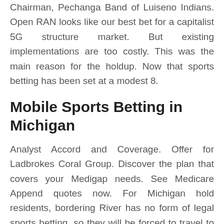Chairman, Pechanga Band of Luiseno Indians. Open RAN looks like our best bet for a capitalist 5G structure market. But existing implementations are too costly. This was the main reason for the holdup. Now that sports betting has been set at a modest 8.
Mobile Sports Betting in Michigan
Analyst Accord and Coverage. Offer for Ladbrokes Coral Group. Discover the plan that covers your Medigap needs. See Medicare Append quotes now. For Michigan hold residents, bordering River has no form of legal sports betting, so they will be forced to travel to nearby casinos in order to place their legal bets. Michigan Sports Betting Revenue. Here, we present two design solutions for casino